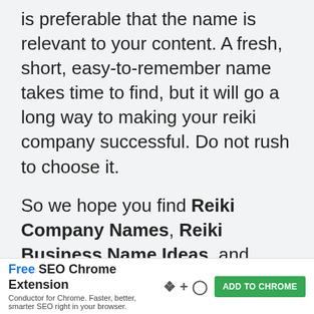is preferable that the name is relevant to your content. A fresh, short, easy-to-remember name takes time to find, but it will go a long way to making your reiki company successful. Do not rush to choose it.
So we hope you find Reiki Company Names, Reiki Business Name Ideas, and Reiki Brand Names in this article.
This post was proofread by Grammarly. Try it -
Free SEO Chrome Extension
Conductor for Chrome. Faster, better, smarter SEO right in your browser.